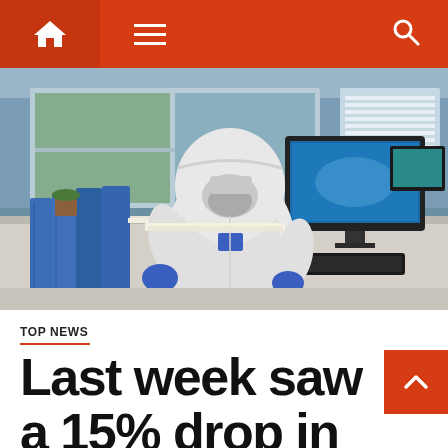Navigation bar with home, menu, and search icons
[Figure (photo): A healthcare worker in full white protective hazmat suit and blue gloves sitting at a desk with blue binders, reviewing documents, with a computer monitor in the background in a medical/laboratory setting]
TOP NEWS
Last week saw a 15% drop in